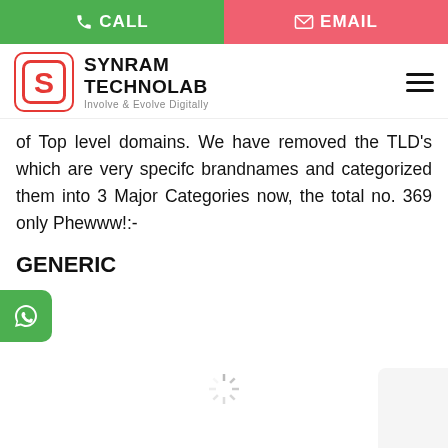CALL  EMAIL
[Figure (logo): Synram Technolab logo with red rounded square S icon and company name]
of Top level domains. We have removed the TLD's which are very specifc brandnames and categorized them into 3 Major Categories now, the total no. 369 only Phewww!:-
GENERIC